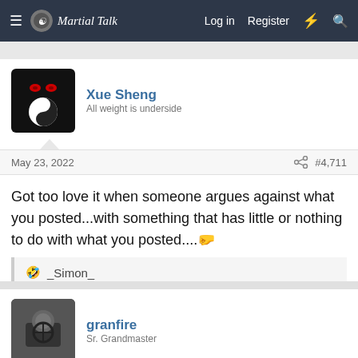Martial Talk — Log in  Register
Xue Sheng
All weight is underside
May 23, 2022  #4,711
Got too love it when someone argues against what you posted...with something that has little or nothing to do with what you posted....🤛
🤣 _Simon_
granfire
Sr. Grandmaster
May 23, 2022  #4,712